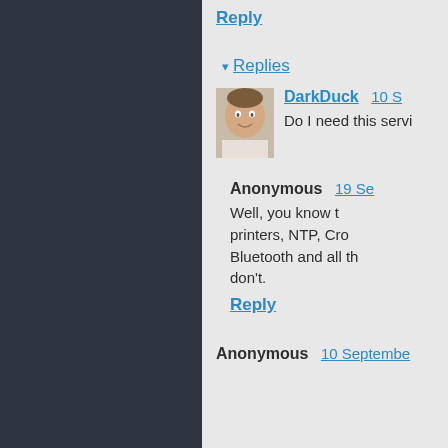Reply
▾ Replies
DarkDuck   10 S
Do I need this servi
Anonymous   19 Se
Well, you know t printers, NTP, Cro Bluetooth and all th don't.
Reply
Anonymous   10 Septembe